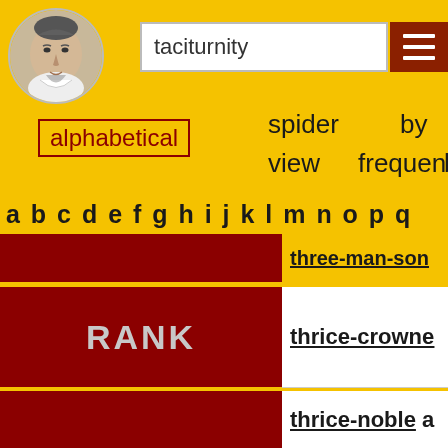[Figure (illustration): Circular portrait of Shakespeare in grayscale, top left corner]
taciturnity
alphabetical
spider view
by frequency by
a b c d e f g h i j k l m n o p q
|  |  |
| --- | --- |
|  | three-man-son |
| RANK | thrice-crowne |
|  | thrice-noble a |